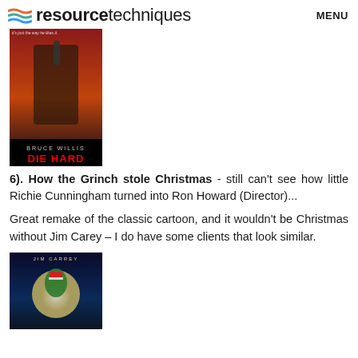resource techniques  MENU
[Figure (photo): Die Hard movie poster featuring Bruce Willis holding a gun, with text 'BRUCE WILLIS DIE HARD' at the bottom]
6). How the Grinch stole Christmas - still can't see how little Richie Cunningham turned into Ron Howard (Director)...
Great remake of the classic cartoon, and it wouldn't be Christmas without Jim Carey – I do have some clients that look similar.
[Figure (photo): How the Grinch Stole Christmas movie poster featuring Jim Carey as the Grinch in front of a large moon, with 'JIM CARREY' text at top]